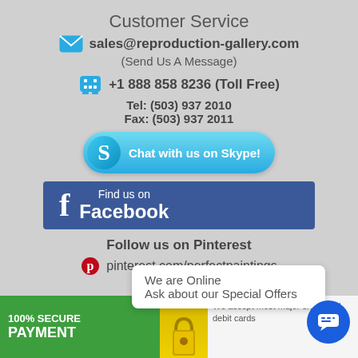Customer Service
sales@reproduction-gallery.com (Send Us A Message)
+1 888 858 8236 (Toll Free) Tel: (503) 937 2010 Fax: (503) 937 2011
[Figure (screenshot): Skype button: Chat with us on Skype!]
[Figure (screenshot): Find us on Facebook button]
Follow us on Pinterest
pinterest.com/perfectpaintings
[Figure (screenshot): We are Online - Ask about our Special Offers chat popup and 100% SECURE PAYMENT banner with lock icon]